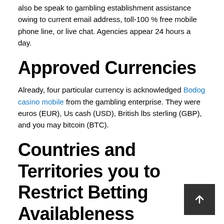also be speak to gambling establishment assistance owing to current email address, toll-100 % free mobile phone line, or live chat. Agencies appear 24 hours a day.
Approved Currencies
Already, four particular currency is acknowledged Bodog casino mobile from the gambling enterprise. They were euros (EUR), Us cash (USD), British lbs sterling (GBP), and you may bitcoin (BTC).
Countries and Territories you to Restrict Betting Availableness